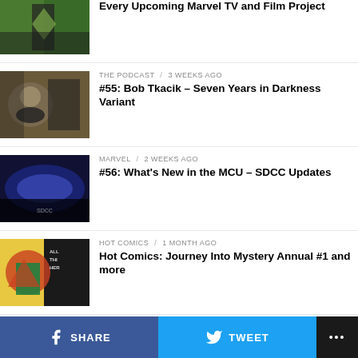Every Upcoming Marvel TV and Film Project
THE PODCAST / 3 weeks ago
#55: Bob Tkacik – Seven Years in Darkness Variant
MARVEL / 2 weeks ago
#56: What's New in the MCU – SDCC Updates
HOT COMICS / 1 month ago
Hot Comics: Journey Into Mystery Annual #1 and more
DC / 1 month ago
DC League of Super-Pets Preview
SHARE   TWEET   ...